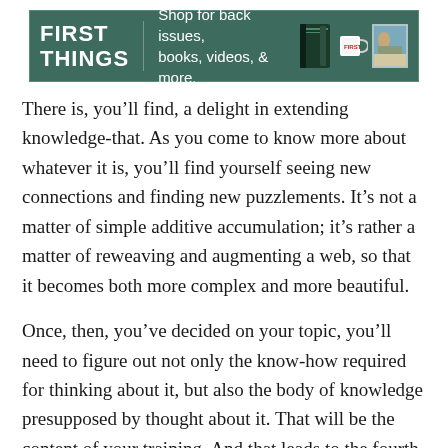[Figure (logo): First Things advertisement banner with green background, logo text 'FIRST THINGS', text 'Shop for back issues, books, videos, & more.' and images of books, a mug, and a photo.]
There is, you'll find, a delight in extending knowledge-that. As you come to know more about whatever it is, you'll find yourself seeing new connections and finding new puzzlements. It's not a matter of simple additive accumulation; it's rather a matter of reweaving and augmenting a web, so that it becomes both more complex and more beautiful.
Once, then, you've decided on your topic, you'll need to figure out not only the know-how required for thinking about it, but also the body of knowledge presupposed by thought about it. That will be the content of your training. And that leads to the fourth requirement of the intellectual life.